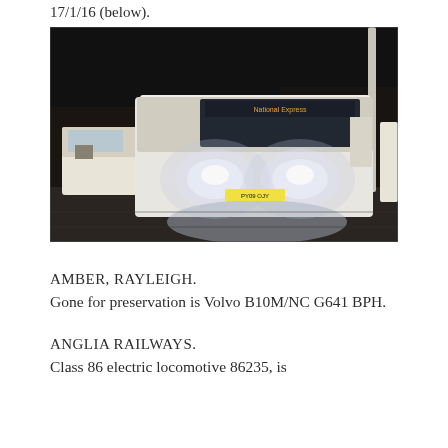17/1/16 (below).
[Figure (photo): Night photograph of a white coach bus with headlights on, parked in a bus station or depot. Other buses visible in the background. Dark night sky.]
AMBER, RAYLEIGH.
Gone for preservation is Volvo B10M/NC G641 BPH.
ANGLIA RAILWAYS.
Class 86 electric locomotive 86235, is